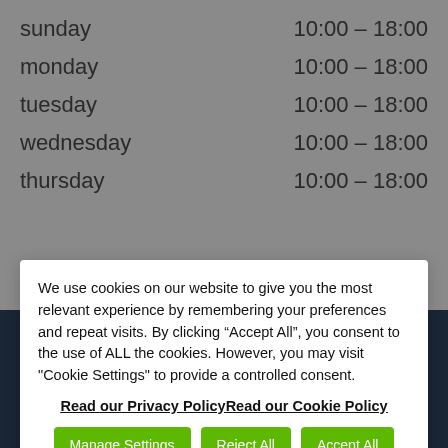| Day | Hours |
| --- | --- |
| sunday | 10:00 – 18:00 |
| monday | 10:00 – 18:00 |
| tuesday | 10:00 – 18:00 |
| wednesday | 10:00 – 18:00 |
| thursday | 10:00 – 18:00 |
We use cookies on our website to give you the most relevant experience by remembering your preferences and repeat visits. By clicking “Accept All”, you consent to the use of ALL the cookies. However, you may visit "Cookie Settings" to provide a controlled consent.
Read our Privacy PolicyRead our Cookie Policy
and leisure destination
[Figure (other): Social media icons: Facebook, Instagram, Twitter]